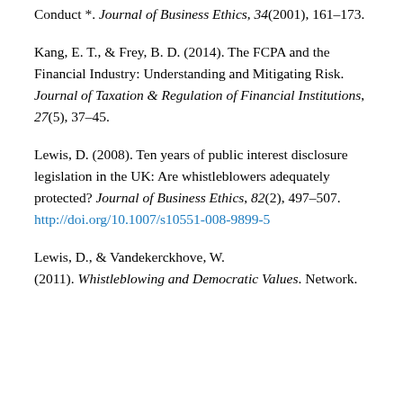Conduct *. Journal of Business Ethics, 34(2001), 161–173.
Kang, E. T., & Frey, B. D. (2014). The FCPA and the Financial Industry: Understanding and Mitigating Risk. Journal of Taxation & Regulation of Financial Institutions, 27(5), 37–45.
Lewis, D. (2008). Ten years of public interest disclosure legislation in the UK: Are whistleblowers adequately protected? Journal of Business Ethics, 82(2), 497–507. http://doi.org/10.1007/s10551-008-9899-5
Lewis, D., & Vandekerckhove, W. (2011). Whistleblowing and Democratic Values. Network.